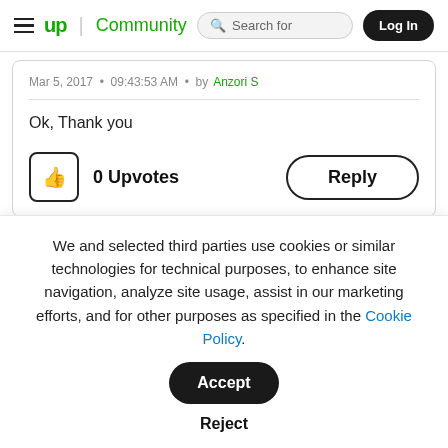up Community | Search for | Log In
Mar 5, 2017 • 09:43:53 AM • by Anzori S
Ok, Thank you
0 Upvotes
Reply
We and selected third parties use cookies or similar technologies for technical purposes, to enhance site navigation, analyze site usage, assist in our marketing efforts, and for other purposes as specified in the Cookie Policy.
Accept
Reject